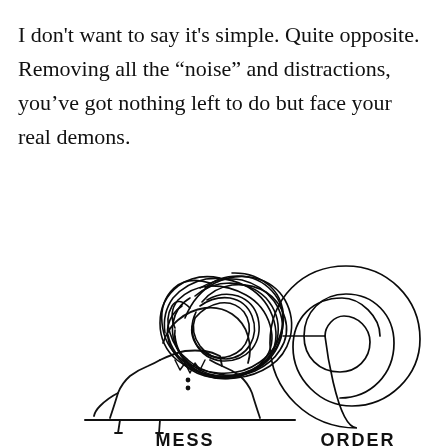I don't want to say it's simple. Quite opposite. Removing all the “noise” and distractions, you've got nothing left to do but face your real demons.
[Figure (illustration): A hand-drawn illustration showing a person's upper body silhouette. Their head is replaced by a large chaotic tangle of scribbled lines (labeled MESS below) with a line extending to the right that unwinds into a clean orderly spiral (labeled ORDER below).]